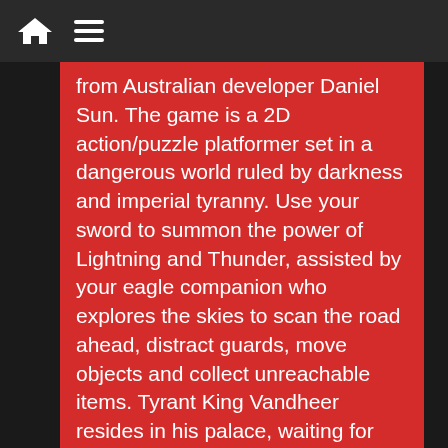Navigation bar with home icon and menu icon
from Australian developer Daniel Sun. The game is a 2D action/puzzle platformer set in a dangerous world ruled by darkness and imperial tyranny. Use your sword to summon the power of Lightning and Thunder, assisted by your eagle companion who explores the skies to scan the road ahead, distract guards, move objects and collect unreachable items. Tyrant King Vandheer resides in his palace, waiting for your arrival. Your goal – to challenge and defeat him.
We use cookies to ensure that we give you the best experience on our website. If you continue to use this site we will assume that you are happy with it.
I understand   Privacy policy
Majestic Nights (by Epiphany Games)
Rogue Singularity (by Considerable Content)
Aardyne (by Apologetic Productions)